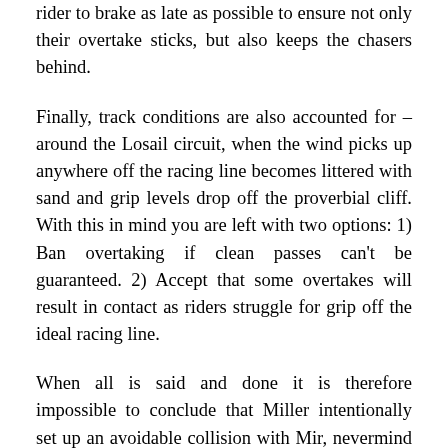rider to brake as late as possible to ensure not only their overtake sticks, but also keeps the chasers behind.
Finally, track conditions are also accounted for – around the Losail circuit, when the wind picks up anywhere off the racing line becomes littered with sand and grip levels drop off the proverbial cliff. With this in mind you are left with two options: 1) Ban overtaking if clean passes can't be guaranteed. 2) Accept that some overtakes will result in contact as riders struggle for grip off the ideal racing line.
When all is said and done it is therefore impossible to conclude that Miller intentionally set up an avoidable collision with Mir, nevermind any notion of actively